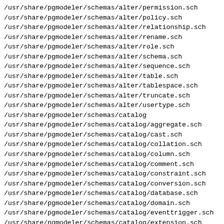/usr/share/pgmodeler/schemas/alter/permission.sch
/usr/share/pgmodeler/schemas/alter/policy.sch
/usr/share/pgmodeler/schemas/alter/relationship.sch
/usr/share/pgmodeler/schemas/alter/rename.sch
/usr/share/pgmodeler/schemas/alter/role.sch
/usr/share/pgmodeler/schemas/alter/schema.sch
/usr/share/pgmodeler/schemas/alter/sequence.sch
/usr/share/pgmodeler/schemas/alter/table.sch
/usr/share/pgmodeler/schemas/alter/tablespace.sch
/usr/share/pgmodeler/schemas/alter/truncate.sch
/usr/share/pgmodeler/schemas/alter/usertype.sch
/usr/share/pgmodeler/schemas/catalog
/usr/share/pgmodeler/schemas/catalog/aggregate.sch
/usr/share/pgmodeler/schemas/catalog/cast.sch
/usr/share/pgmodeler/schemas/catalog/collation.sch
/usr/share/pgmodeler/schemas/catalog/column.sch
/usr/share/pgmodeler/schemas/catalog/comment.sch
/usr/share/pgmodeler/schemas/catalog/constraint.sch
/usr/share/pgmodeler/schemas/catalog/conversion.sch
/usr/share/pgmodeler/schemas/catalog/database.sch
/usr/share/pgmodeler/schemas/catalog/domain.sch
/usr/share/pgmodeler/schemas/catalog/eventtrigger.sch
/usr/share/pgmodeler/schemas/catalog/extension.sch
/usr/share/pgmodeler/schemas/catalog/function.sch
/usr/share/pgmodeler/schemas/catalog/index.sch
/usr/share/pgmodeler/schemas/catalog/language.sch
/usr/share/pgmodeler/schemas/catalog/notextobject.sch
/usr/share/pgmodeler/schemas/catalog/opclass.sch
/usr/share/pgmodeler/schemas/catalog/operator.sch
/usr/share/pgmodeler/schemas/catalog/opfamily.sch